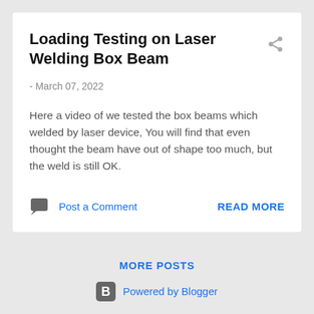Loading Testing on Laser Welding Box Beam
- March 07, 2022
Here a video of we tested the box beams which welded by laser device, You will find that even thought the beam have out of shape too much, but the weld is still OK.
Post a Comment
READ MORE
MORE POSTS
Powered by Blogger